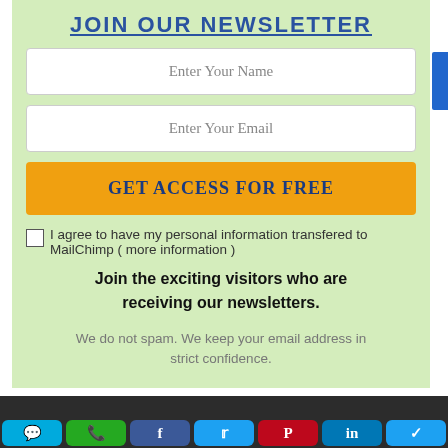JOIN OUR NEWSLETTER
Enter Your Name
Enter Your Email
GET ACCESS FOR FREE
I agree to have my personal information transfered to MailChimp ( more information )
Join the exciting visitors who are receiving our newsletters.
We do not spam. We keep your email address in strict confidence.
[Figure (infographic): Social media sharing buttons row at bottom: chat, WhatsApp, Facebook, Twitter, Pinterest, LinkedIn, and another icon.]